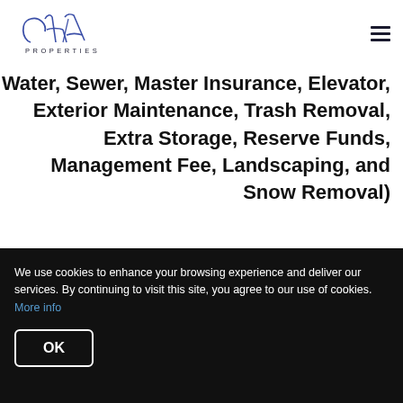[Figure (logo): CHA Properties logo with stylized script letters and 'PROPERTIES' text below]
Water, Sewer, Master Insurance, Elevator, Exterior Maintenance, Trash Removal, Extra Storage, Reserve Funds, Management Fee, Landscaping, and Snow Removal)
We use cookies to enhance your browsing experience and deliver our services. By continuing to visit this site, you agree to our use of cookies. More info
OK